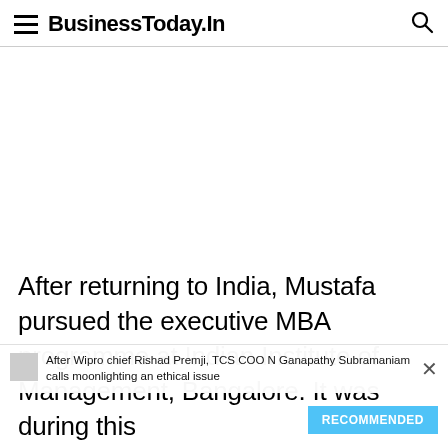BusinessToday.In
[Figure (other): Advertisement / blank white space area]
After returning to India, Mustafa pursued the executive MBA programme at Indian Institute of Management, Bangalore. It was during this
After Wipro chief Rishad Premji, TCS COO N Ganapathy Subramaniam calls moonlighting an ethical issue
RECOMMENDED